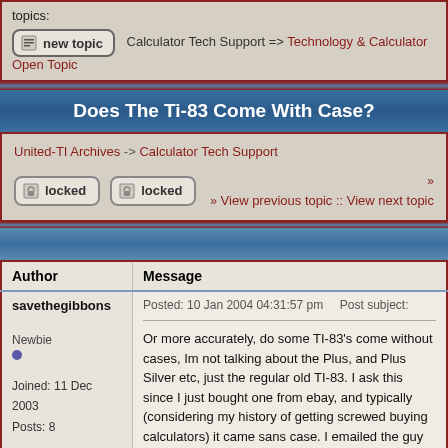topics:
new topic   Calculator Tech Support => Technology & Calculator Open Topic
Does The Ti-83 Come With Case?
United-TI Archives -> Calculator Tech Support
locked   locked   » View previous topic :: View next topic
| Author | Message |
| --- | --- |
| savethegibbons

Newbie

Joined: 11 Dec 2003
Posts: 8 | Posted: 10 Jan 2004 04:31:57 pm   Post subject:

Or more accurately, do some TI-83's come without cases, Im not talking about the Plus, and Plus Silver etc, just the regular old TI-83. I ask this since I just bought one from ebay, and typically (considering my history of getting screwed buying calculators) it came sans case. I emailed the guy and he claimed that he bought it new in this condition. |